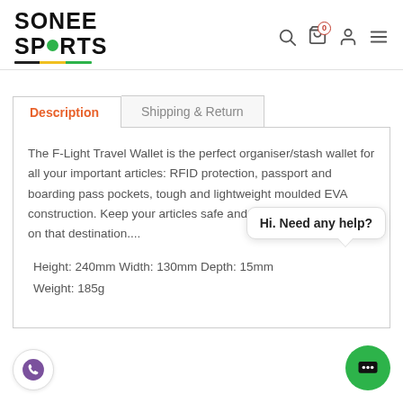[Figure (logo): Sonee Sports logo with green circle in SPORTS text and tricolor underline]
Navigation icons: search, cart (0), profile, menu
Description | Shipping & Return
The F-Light Travel Wallet is the perfect organiser/stash wallet for all your important articles: RFID protection, passport and boarding pass pockets, tough and lightweight moulded EVA construction. Keep your articles safe and sound and concentrate on that destination....
Height: 240mm Width: 130mm Depth: 15mm
Weight: 185g